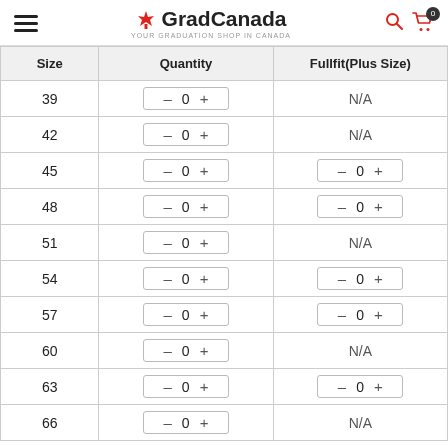GradCanada — YOUR GRADUATION SHOP IN CANADA
| Size | Quantity | Fullfit(Plus Size) |
| --- | --- | --- |
| 39 | – 0 + | N/A |
| 42 | – 0 + | N/A |
| 45 | – 0 + | – 0 + |
| 48 | – 0 + | – 0 + |
| 51 | – 0 + | N/A |
| 54 | – 0 + | – 0 + |
| 57 | – 0 + | – 0 + |
| 60 | – 0 + | N/A |
| 63 | – 0 + | – 0 + |
| 66 | – 0 + | N/A |